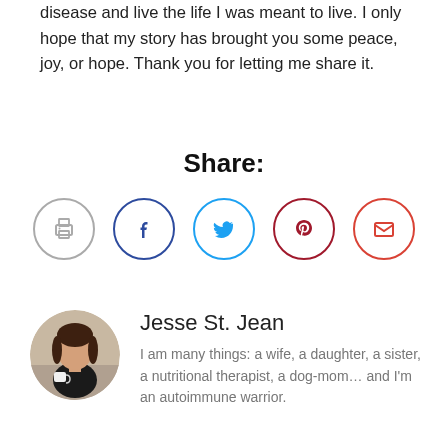disease and live the life I was meant to live. I only hope that my story has brought you some peace, joy, or hope. Thank you for letting me share it.
Share:
[Figure (infographic): Five social sharing icon buttons in circles: print (gray), Facebook (dark blue), Twitter (light blue), Pinterest (dark red), email (red-orange)]
[Figure (photo): Circular profile photo of Jesse St. Jean, a woman with dark hair holding a white mug, wearing a black top, seated on a couch]
Jesse St. Jean
I am many things: a wife, a daughter, a sister, a nutritional therapist, a dog-mom… and I'm an autoimmune warrior.